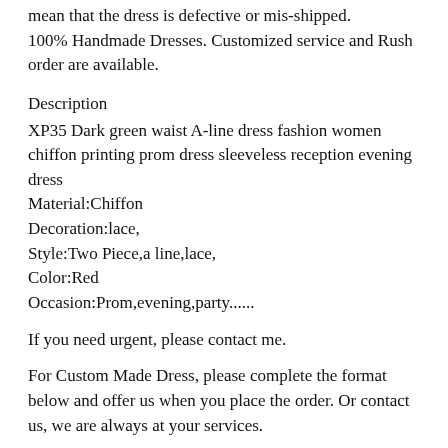mean that the dress is defective or mis-shipped. 100% Handmade Dresses. Customized service and Rush order are available.
Description
XP35 Dark green waist A-line dress fashion women chiffon printing prom dress sleeveless reception evening dress
Material:Chiffon
Decoration:lace,
Style:Two Piece,a line,lace,
Color:Red
Occasion:Prom,evening,party......
If you need urgent, please contact me.
For Custom Made Dress, please complete the format below and offer us when you place the order. Or contact us, we are always at your services.
1. Bust: ___Cm/Inches
2. Waist:___ Cm/Inches